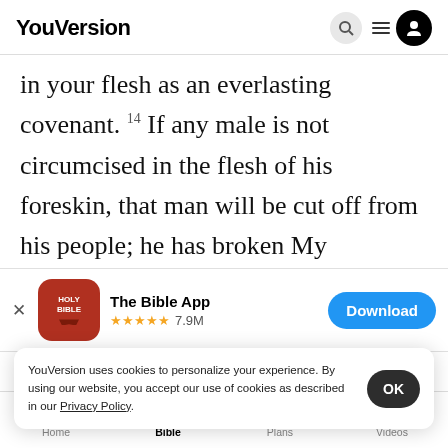YouVersion
in your flesh as an everlasting covenant. 14 If any male is not circumcised in the flesh of his foreskin, that man will be cut off from his people; he has broken My covenant."
15
[Figure (screenshot): App download banner for The Bible App showing app icon, 5-star rating 7.9M reviews, and Download button]
I will bless her: indeed, I will give yo
son by
nations, kings of peoples will come from her.
YouVersion uses cookies to personalize your experience. By using our website, you accept our use of cookies as described in our Privacy Policy.
Home  Bible  Plans  Videos